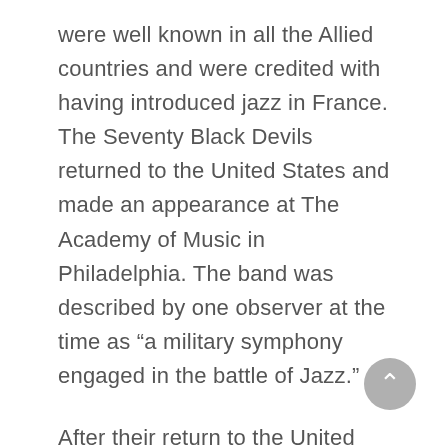were well known in all the Allied countries and were credited with having introduced jazz in France. The Seventy Black Devils returned to the United States and made an appearance at The Academy of Music in Philadelphia. The band was described by one observer at the time as “a military symphony engaged in the battle of Jazz.”
After their return to the United State Brymn and his Black Devil Orchestra would release over the next decade twelve albums including “Daddy Won’t You Please Come Home,” “Don’t Tell Your Monkey Man,” and “Siren of the Southern Sea.” He also released the album, “Aunt Hagar’s Children Blues”